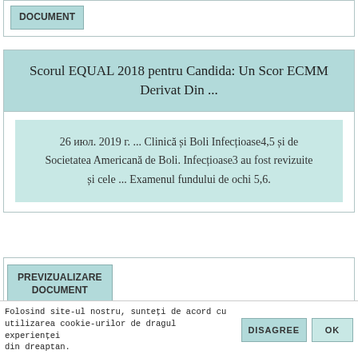DOCUMENT
Scorul EQUAL 2018 pentru Candida: Un Scor ECMM Derivat Din ...
26 июл. 2019 г. ... Clinică și Boli Infecțioase4,5 și de Societatea Americană de Boli. Infecțioase3 au fost revizuite și cele ... Examenul fundului de ochi 5,6.
PREVIZUALIZARE DOCUMENT
2021 МЕДИАКИТ - ELLE Girl
Folosind site-ul nostru, sunteți de acord cu utilizarea cookie-urilor de dragul experienței din dreaptan.